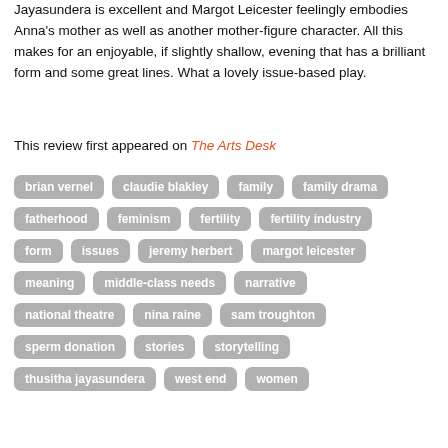Jayasundera is excellent and Margot Leicester feelingly embodies Anna's mother as well as another mother-figure character. All this makes for an enjoyable, if slightly shallow, evening that has a brilliant form and some great lines. What a lovely issue-based play.
This review first appeared on The Arts Desk
brian vernel
claudie blakley
family
family drama
fatherhood
feminism
fertility
fertility industry
form
issues
jeremy herbert
margot leicester
meaning
middle-class needs
narrative
national theatre
nina raine
sam troughton
sperm donation
stories
storytelling
thusitha jayasundera
west end
women